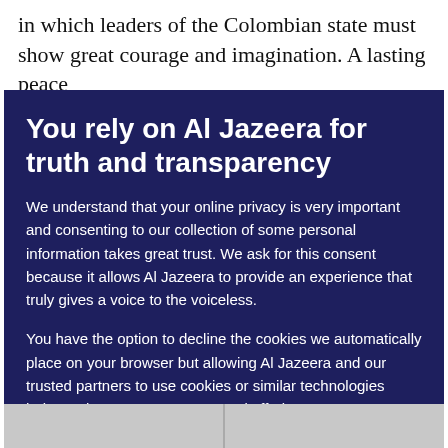in which leaders of the Colombian state must show great courage and imagination. A lasting peace
You rely on Al Jazeera for truth and transparency
We understand that your online privacy is very important and consenting to our collection of some personal information takes great trust. We ask for this consent because it allows Al Jazeera to provide an experience that truly gives a voice to the voiceless.
You have the option to decline the cookies we automatically place on your browser but allowing Al Jazeera and our trusted partners to use cookies or similar technologies helps us improve our content and offerings to you. You can change your privacy preferences at any time by selecting ‘Cookie preferences’ at the bottom of your screen. To learn more, please view our Cookie Policy.